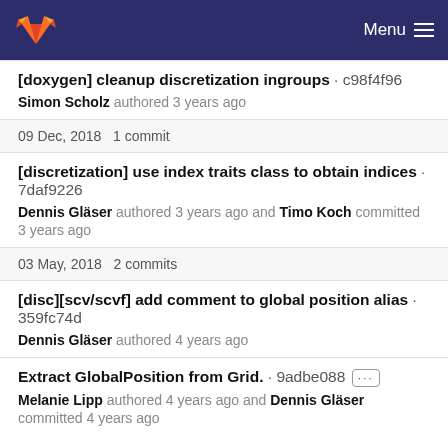Menu
[doxygen] cleanup discretization ingroups · c98f4f96
Simon Scholz authored 3 years ago
09 Dec, 2018 1 commit
[discretization] use index traits class to obtain indices · 7daf9226
Dennis Gläser authored 3 years ago and Timo Koch committed 3 years ago
03 May, 2018 2 commits
[disc][scv/scvf] add comment to global position alias · 359fc74d
Dennis Gläser authored 4 years ago
Extract GlobalPosition from Grid. · 9adbe088
Melanie Lipp authored 4 years ago and Dennis Gläser committed 4 years ago